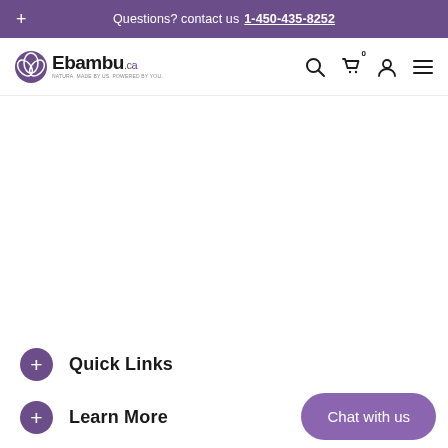+ Questions? contact us 1-450-435-8252
[Figure (logo): Ebambu.ca logo with purple leaf/plant icon and tagline text]
+ Quick Links
+ Learn More
Chat with us